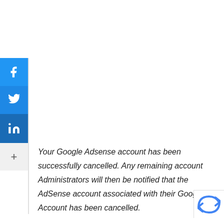[Figure (infographic): Vertical social sharing sidebar with Facebook (blue), Twitter (lighter blue), LinkedIn (dark blue) icon buttons, and a '+' more button on a light grey background]
Your Google Adsense account has been successfully cancelled. Any remaining account Administrators will then be notified that the AdSense account associated with their Google Account has been cancelled.